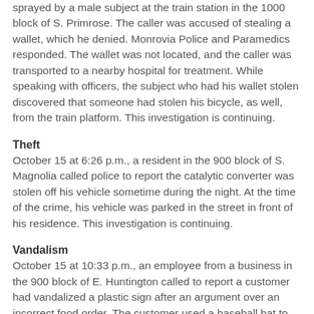sprayed by a male subject at the train station in the 1000 block of S. Primrose. The caller was accused of stealing a wallet, which he denied. Monrovia Police and Paramedics responded. The wallet was not located, and the caller was transported to a nearby hospital for treatment. While speaking with officers, the subject who had his wallet stolen discovered that someone had stolen his bicycle, as well, from the train platform. This investigation is continuing.
Theft
October 15 at 6:26 p.m., a resident in the 900 block of S. Magnolia called police to report the catalytic converter was stolen off his vehicle sometime during the night. At the time of the crime, his vehicle was parked in the street in front of his residence. This investigation is continuing.
Vandalism
October 15 at 10:33 p.m., an employee from a business in the 900 block of E. Huntington called to report a customer had vandalized a plastic sign after an argument over an incorrect food order. The customer used a baseball bat to break a "Do not enter" sign and then left the area in a vehicle. This investigation is continuing.